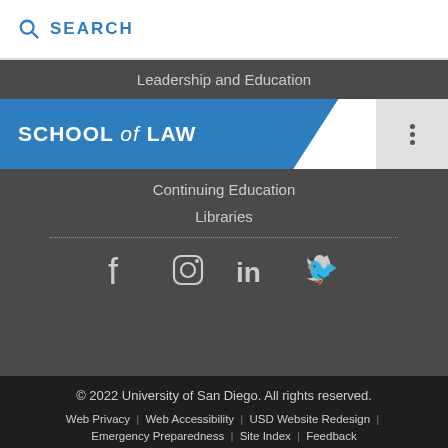SEARCH
Leadership and Education
SCHOOL of LAW
Continuing Education
Libraries
[Figure (infographic): Social media icons: Facebook, Instagram, LinkedIn, Twitter]
© 2022 University of San Diego. All rights reserved.
Web Privacy | Web Accessibility | USD Website Redesign | Emergency Preparedness | Site Index | Feedback